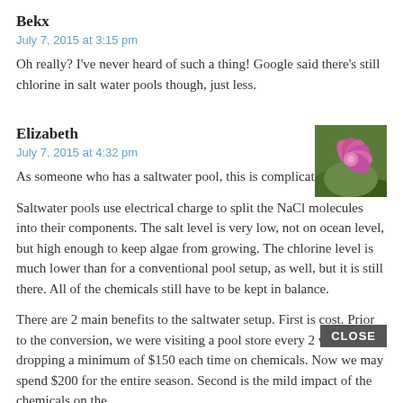Bekx
July 7, 2015 at 3:15 pm
Oh really? I've never heard of such a thing! Google said there's still chlorine in salt water pools though, just less.
Elizabeth
July 7, 2015 at 4:32 pm
[Figure (photo): Avatar photo of a pink flower on green background]
As someone who has a saltwater pool, this is complicated.

Saltwater pools use electrical charge to split the NaCl molecules into their components. The salt level is very low, not on ocean level, but high enough to keep algae from growing. The chlorine level is much lower than for a conventional pool setup, as well, but it is still there. All of the chemicals still have to be kept in balance.

There are 2 main benefits to the saltwater setup. First is cost. Prior to the conversion, we were visiting a pool store every 2 weeks and dropping a minimum of $150 each time on chemicals. Now we may spend $200 for the entire season. Second is the mild impact of the chemicals on the